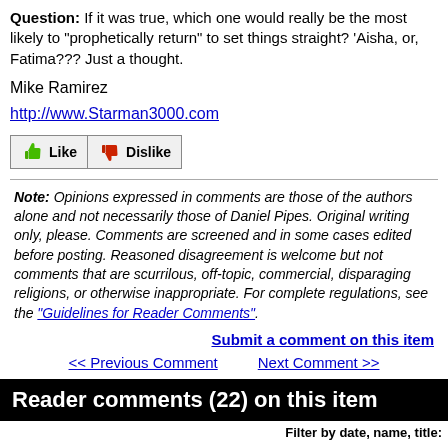Question: If it was true, which one would really be the most likely to "prophetically return" to set things straight? 'Aisha, or, Fatima??? Just a thought.
Mike Ramirez
http://www.Starman3000.com
[Figure (other): Like and Dislike buttons with thumbs up (green) and thumbs down (red) icons]
Note: Opinions expressed in comments are those of the authors alone and not necessarily those of Daniel Pipes. Original writing only, please. Comments are screened and in some cases edited before posting. Reasoned disagreement is welcome but not comments that are scurrilous, off-topic, commercial, disparaging religions, or otherwise inappropriate. For complete regulations, see the "Guidelines for Reader Comments".
Submit a comment on this item
<< Previous Comment    Next Comment >>
Reader comments (22) on this item
Filter by date, name, title: